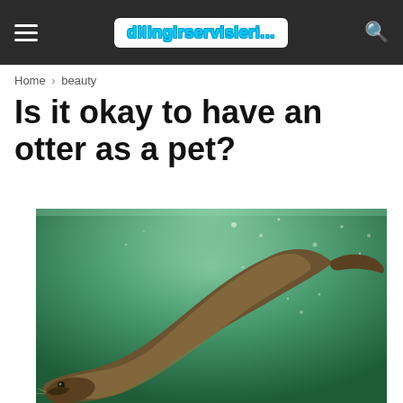dilingirservisleri...
Home › beauty
Is it okay to have an otter as a pet?
[Figure (photo): An otter swimming underwater, photographed from below against a green-tinted water background with light bubbles. The otter is elongated, diving diagonally from upper-right to lower-left, with its face visible at the bottom-left.]